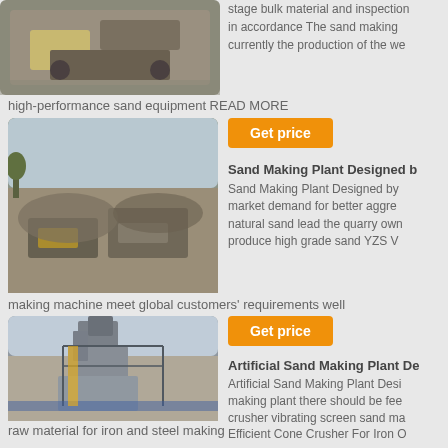[Figure (photo): Industrial sand/aggregate equipment facility, top partial view]
stage bulk material and inspection in accordance The sand making currently the production of the we
high-performance sand equipment READ MORE
[Figure (photo): Outdoor aggregate/sand making plant with trucks and machinery]
Get price
Sand Making Plant Designed b
Sand Making Plant Designed by market demand for better aggre natural sand lead the quarry own produce high grade sand YZS V
making machine meet global customers' requirements well
[Figure (photo): Large industrial artificial sand making plant tower structure]
Get price
Artificial Sand Making Plant De
Artificial Sand Making Plant Desi making plant there should be fee crusher vibrating screen sand ma Efficient Cone Crusher For Iron O
raw material for iron and steel making
[Figure (photo): Sand making unit facility, partial bottom view]
Get price
Sand Making Unit